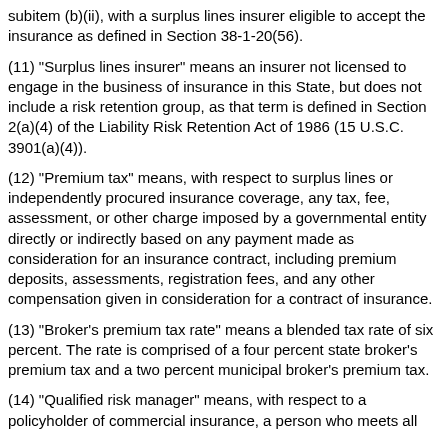subitem (b)(ii), with a surplus lines insurer eligible to accept the insurance as defined in Section 38-1-20(56).
(11) "Surplus lines insurer" means an insurer not licensed to engage in the business of insurance in this State, but does not include a risk retention group, as that term is defined in Section 2(a)(4) of the Liability Risk Retention Act of 1986 (15 U.S.C. 3901(a)(4)).
(12) "Premium tax" means, with respect to surplus lines or independently procured insurance coverage, any tax, fee, assessment, or other charge imposed by a governmental entity directly or indirectly based on any payment made as consideration for an insurance contract, including premium deposits, assessments, registration fees, and any other compensation given in consideration for a contract of insurance.
(13) "Broker's premium tax rate" means a blended tax rate of six percent. The rate is comprised of a four percent state broker's premium tax and a two percent municipal broker's premium tax.
(14) "Qualified risk manager" means, with respect to a policyholder of commercial insurance, a person who meets all